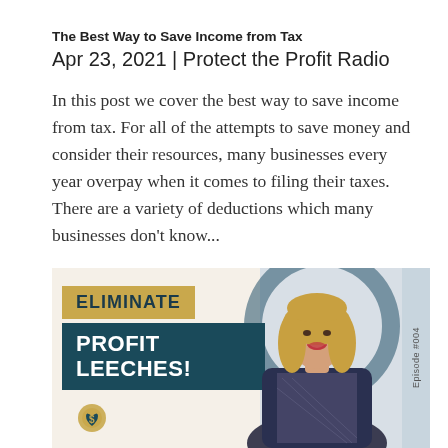The Best Way to Save Income from Tax
Apr 23, 2021 | Protect the Profit Radio
In this post we cover the best way to save income from tax. For all of the attempts to save money and consider their resources, many businesses every year overpay when it comes to filing their taxes. There are a variety of deductions which many businesses don't know...
[Figure (photo): Podcast cover image for 'Eliminate Profit Leeches!' episode #004 featuring a blonde woman in a dark blazer smiling, with gold and teal banner overlays and a circular logo decoration.]